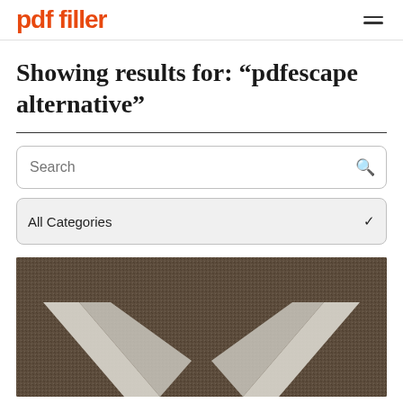pdf filler
Showing results for: “pdfescape alternative”
Search
All Categories
[Figure (photo): Aerial photo of a road surface with white arrow chevron markings on dark asphalt/gravel pavement]